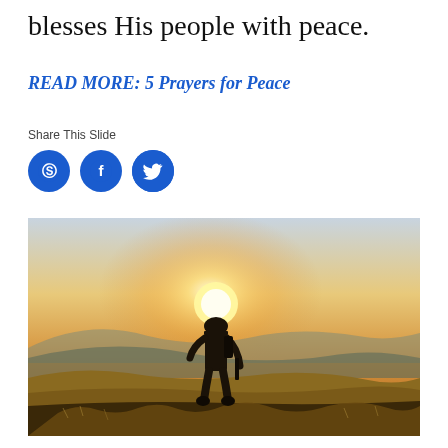blesses His people with peace.
READ MORE: 5 Prayers for Peace
Share This Slide
[Figure (infographic): Three blue circular social media sharing buttons: Pinterest (P), Facebook (f), and Twitter (bird icon)]
[Figure (photo): Silhouette of a soldier walking across a hilltop at golden sunset, with rolling hills and a glowing orange-yellow sky in the background]